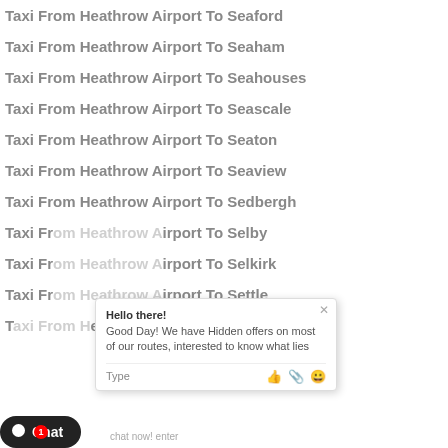Taxi From Heathrow Airport To Seaford
Taxi From Heathrow Airport To Seaham
Taxi From Heathrow Airport To Seahouses
Taxi From Heathrow Airport To Seascale
Taxi From Heathrow Airport To Seaton
Taxi From Heathrow Airport To Seaview
Taxi From Heathrow Airport To Sedbergh
Taxi From Heathrow Airport To Selby
Taxi From Heathrow Airport To Selkirk
Taxi From Heathrow Airport To Settle
Taxi From Heathrow Airport To Sevenoaks
[Figure (screenshot): Chat popup overlay with message 'Hello there! Good Day! We have Hidden offers on most of our routes, interested to know what lies' and input row with Type label and emoji/attachment icons. Chat button at bottom left.]